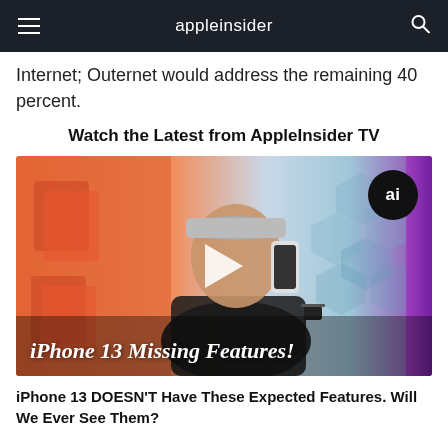appleinsider
Internet; Outernet would address the remaining 40 percent.
Watch the Latest from AppleInsider TV
[Figure (photo): Video thumbnail showing a man in a cap holding an iPhone 13, with a play button overlay and text 'iPhone 13 Missing Features!' at the bottom. An 'ai' logo badge appears in the top right corner.]
iPhone 13 DOESN'T Have These Expected Features. Will We Ever See Them?